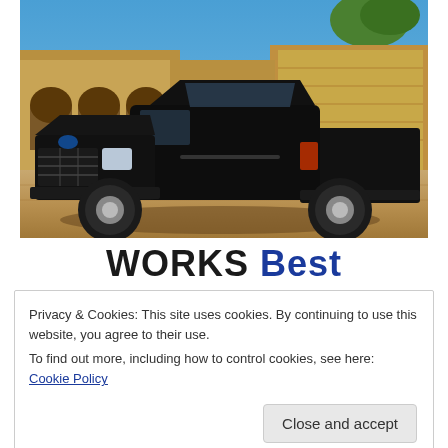[Figure (photo): A black Ford F-150 pickup truck parked on a dirt lot in front of a building under construction with adobe/stucco walls and a clear blue sky in the background.]
Works Best
Privacy & Cookies: This site uses cookies. By continuing to use this website, you agree to their use.
To find out more, including how to control cookies, see here: Cookie Policy